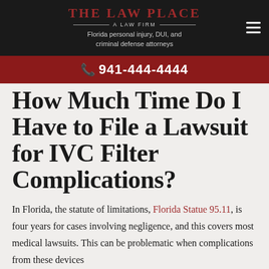The Law Place — A Law Firm
Florida personal injury, DUI, and criminal defense attorneys
941-444-4444
How Much Time Do I Have to File a Lawsuit for IVC Filter Complications?
In Florida, the statute of limitations, Florida Statue 95.11, is four years for cases involving negligence, and this covers most medical lawsuits. This can be problematic when complications from these devices are not identified for a long time. However, this